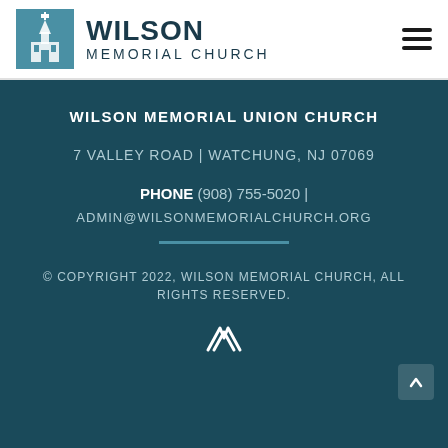WILSON MEMORIAL CHURCH
WILSON MEMORIAL UNION CHURCH
7 VALLEY ROAD | WATCHUNG, NJ 07069
PHONE (908) 755-5020 | ADMIN@WILSONMEMORIALCHURCH.ORG
© COPYRIGHT 2022, WILSON MEMORIAL CHURCH, ALL RIGHTS RESERVED.